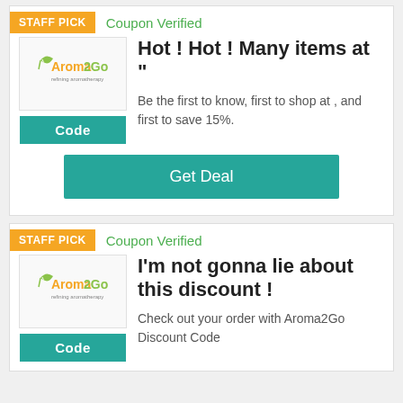STAFF PICK
Coupon Verified
[Figure (logo): Aroma2Go logo with green leaf and text]
Code
Hot ! Hot ! Many items at "
Be the first to know, first to shop at , and first to save 15%.
Get Deal
STAFF PICK
Coupon Verified
[Figure (logo): Aroma2Go logo with green leaf and text]
Code
I'm not gonna lie about this discount !
Check out your order with Aroma2Go Discount Code